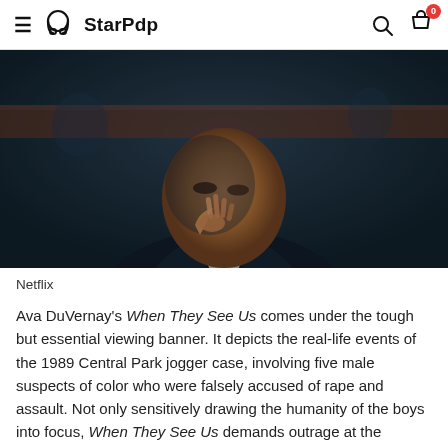StarPdp
[Figure (photo): A man in a dark suit, looking downward with his hand raised near his face with fingers together, in a dimly lit courtroom or formal setting with dark wood paneling in the background.]
Netflix
Ava DuVernay's When They See Us comes under the tough but essential viewing banner. It depicts the real-life events of the 1989 Central Park jogger case, involving five male suspects of color who were falsely accused of rape and assault. Not only sensitively drawing the humanity of the boys into focus, When They See Us demands outrage at the injustice of systemic